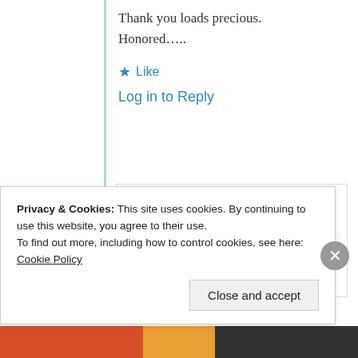Thank you loads precious.
Honored…..
★ Like
Log in to Reply
mildredprince welch
25th Aug 2021 at
Privacy & Cookies: This site uses cookies. By continuing to use this website, you agree to their use.
To find out more, including how to control cookies, see here: Cookie Policy
Close and accept